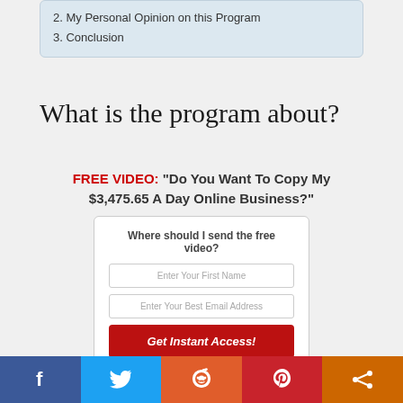2. My Personal Opinion on this Program
3. Conclusion
What is the program about?
[Figure (infographic): Promotional ad with headline 'FREE VIDEO: "Do You Want To Copy My $3,475.65 A Day Online Business?"' and an opt-in form with fields 'Enter Your First Name', 'Enter Your Best Email Address', and a red button 'Get Instant Access!']
Social sharing bar with Facebook, Twitter, Reddit, Pinterest, and Share buttons